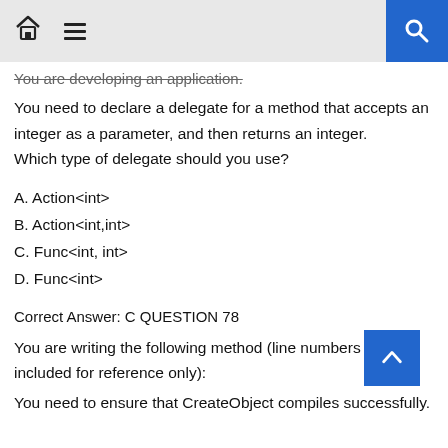[home icon] [menu icon] [search button]
You are developing an application.
You need to declare a delegate for a method that accepts an integer as a parameter, and then returns an integer.
Which type of delegate should you use?
A. Action<int>
B. Action<int,int>
C. Func<int, int>
D. Func<int>
Correct Answer: C QUESTION 78
You are writing the following method (line numbers are included for reference only):
You need to ensure that CreateObject compiles successfully.